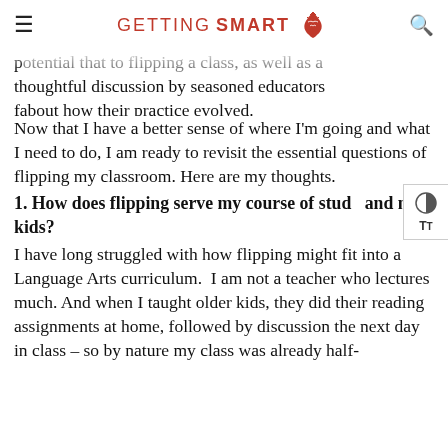GETTING SMART
potential that to flipping a class, as well as a thoughtful discussion by seasoned educators fabout how their practice evolved.
Now that I have a better sense of where I'm going and what I need to do, I am ready to revisit the essential questions of flipping my classroom. Here are my thoughts.
1. How does flipping serve my course of study and my kids?
I have long struggled with how flipping might fit into a Language Arts curriculum.  I am not a teacher who lectures much. And when I taught older kids, they did their reading assignments at home, followed by discussion the next day in class – so by nature my class was already half-